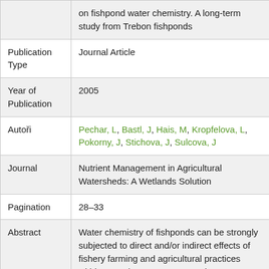| Field | Value |
| --- | --- |
|  | on fishpond water chemistry. A long-term study from Trebon fishponds |
| Publication Type | Journal Article |
| Year of Publication | 2005 |
| Autoři | Pechar, L, Bastl, J, Hais, M, Kropfelova, L, Pokorny, J, Stichova, J, Sulcova, J |
| Journal | Nutrient Management in Agricultural Watersheds: A Wetlands Solution |
| Pagination | 28–33 |
| Abstract | Water chemistry of fishponds can be strongly subjected to direct and/or indirect effects of fishery farming and agricultural practices within a catchment. Long-term data on water chemistry of the fishponds in the Trebon Basin are related to changes in the fishery and agricultural practices, which provides an |